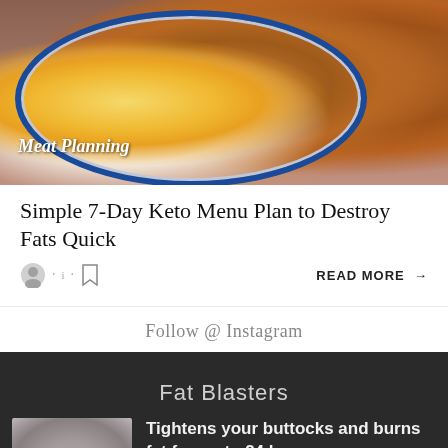[Figure (photo): A plate with a fried egg and two breaded meat patties on a white plate with blue rim. Label 'Meat Planning' overlaid in cursive white text.]
Simple 7-Day Keto Menu Plan to Destroy Fats Quick
READ MORE →
Follow @ Instagram
Fat Blasters
[Figure (photo): A person's midsection showing athletic wear, partially visible.]
Tightens your buttocks and burns fat for up to 24 hours